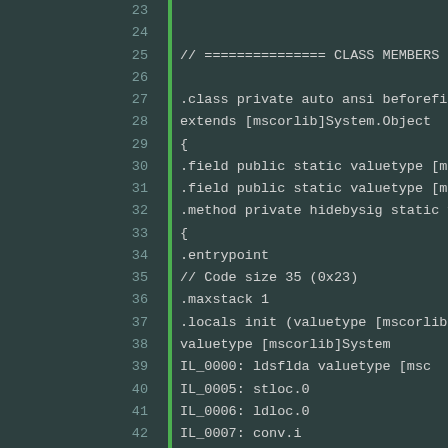[Figure (screenshot): Code listing showing IL assembly / CIL disassembly with line numbers 23-44, dark teal background, green vertical bar separator, monospace font. Lines show class declaration with fields and method body including .entrypoint, .maxstack, .locals init, and IL opcodes IL_0000 through IL_0009.]